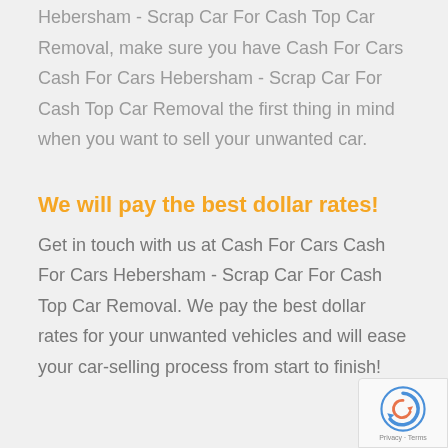Hebersham - Scrap Car For Cash Top Car Removal, make sure you have Cash For Cars Cash For Cars Hebersham - Scrap Car For Cash Top Car Removal the first thing in mind when you want to sell your unwanted car.
We will pay the best dollar rates!
Get in touch with us at Cash For Cars Cash For Cars Hebersham - Scrap Car For Cash Top Car Removal. We pay the best dollar rates for your unwanted vehicles and will ease your car-selling process from start to finish!